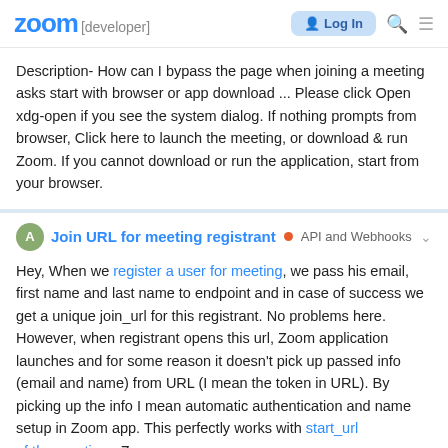zoom [developer] | Log In
Description- How can I bypass the page when joining a meeting asks start with browser or app download ... Please click Open xdg-open if you see the system dialog. If nothing prompts from browser, Click here to launch the meeting, or download & run Zoom. If you cannot download or run the application, start from your browser.
Join URL for meeting registrant • API and Webhooks
Hey, When we register a user for meeting, we pass his email, first name and last name to endpoint and in case of success we get a unique join_url for this registrant. No problems here. However, when registrant opens this url, Zoom application launches and for some reason it doesn't pick up passed info (email and name) from URL (I mean the token in URL). By picking up the info I mean automatic authentication and name setup in Zoom app. This perfectly works with start_url of the meeting - Zoom ap...
2 / 12